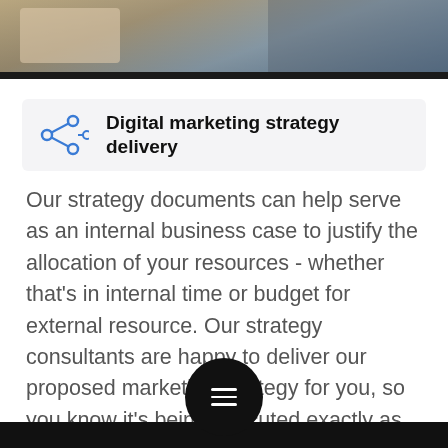[Figure (photo): Cropped photo strip at top of page showing people at a desk/meeting, blurred background]
Digital marketing strategy delivery
Our strategy documents can help serve as an internal business case to justify the allocation of your resources - whether that's in internal time or budget for external resource. Our strategy consultants are happy to deliver our proposed marketing strategy for you, so you know it's being executed exactly as intended and by the same consultants that have the best knowledge of the provided audit documents.